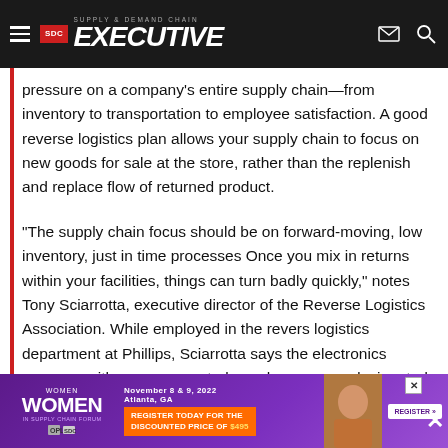Supply & Demand Chain Executive
pressure on a company's entire supply chain—from inventory to transportation to employee satisfaction. A good reverse logistics plan allows your supply chain to focus on new goods for sale at the store, rather than the replenish and replace flow of returned product.
"The supply chain focus should be on forward-moving, low inventory, just in time processes Once you mix in returns within your facilities, things can turn badly quickly," notes Tony Sciarrotta, executive director of the Reverse Logistics Association. While employed in the revers logistics department at Phillips, Sciarrotta says the electronics company either uses a central warehouses or a designated returns location in their warehouse to keep
[Figure (other): Women in Supply Chain Forum advertisement banner. November 8 & 9, 2022, Atlanta, GA. Register Today for the Discounted Price of $495. Register button visible. Close X button in top right.]